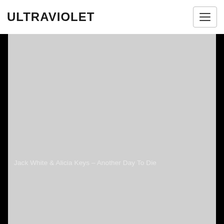ULTRAVIOLET
[Figure (photo): Large dark/black image area with gray content panel, representing a music-related photo backdrop for Jack White & Alicia Keys article]
Jack White & Alicia Keys – Another Day To Die